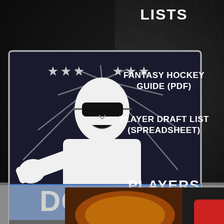[Figure (logo): DobblerHockey.com logo - cartoon man in sunglasses pointing, with stars, on dark background with blue text 'DOBBER HOCKEY .com']
LISTS
FANTASY HOCKEY GUIDE (PDF)
PLAYER DRAFT LIST (SPREADSHEET)
PLAYERS
QUICK LINE
DobblerHockey and Goalie Post launched in 2005, becoming the first independent fantasy hockey starting websites on the
[Figure (screenshot): Seamless food delivery advertisement banner with pizza image and 'ORDER NOW' button]
FULL LINE COMBOS